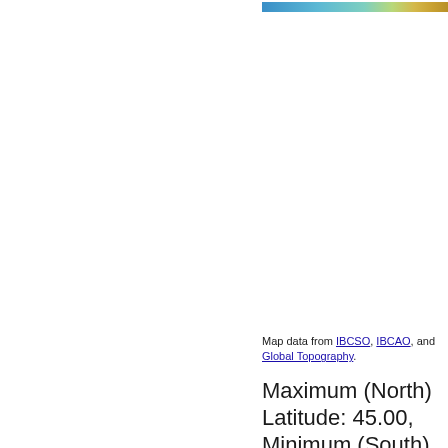[Figure (map): Partial view of a colorbar or map strip showing blue, teal, and yellow-orange color gradient, appearing at the top right of the page.]
Map data from IBCSO, IBCAO, and Global Topography.
Maximum (North) Latitude: 45.00, Minimum (South) Latitude: 40.00 Minimum (West)